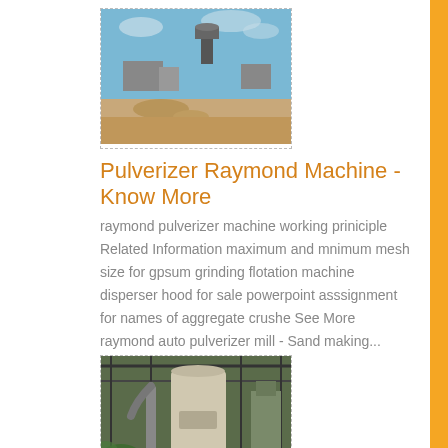[Figure (photo): Outdoor industrial site with a water tower and machinery under a blue sky, sandy ground in foreground]
Pulverizer Raymond Machine - Know More
raymond pulverizer machine working priniciple Related Information maximum and mnimum mesh size for gpsum grinding flotation machine disperser hood for sale powerpoint asssignment for names of aggregate crushe See More raymond auto pulverizer mill - Sand making...
[Figure (photo): Indoor industrial facility showing large machinery and equipment under a metal roof structure]